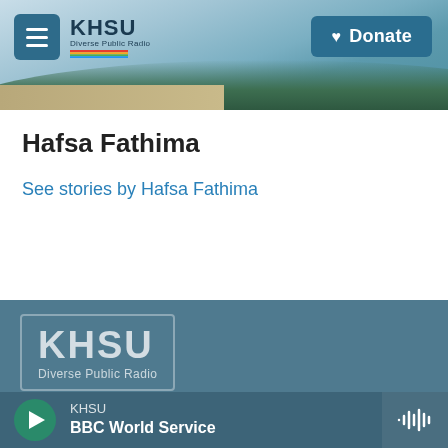[Figure (screenshot): KHSU website header with coastal landscape background, hamburger menu button, KHSU logo with rainbow stripe, and blue Donate button with heart icon]
Hafsa Fathima
See stories by Hafsa Fathima
[Figure (logo): KHSU Diverse Public Radio logo in a bordered box on steel blue footer background]
KHSU
BBC World Service